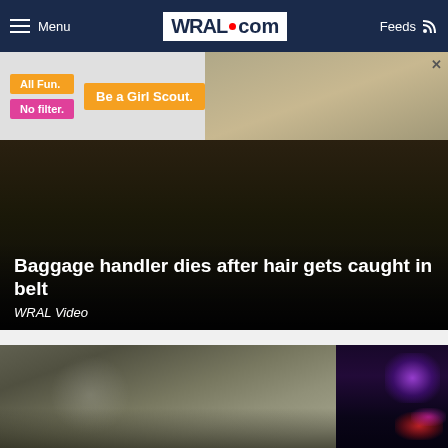Menu | WRAL.com | Feeds
[Figure (screenshot): Advertisement banner for Girl Scouts: 'All Fun. No filter. Be a Girl Scout.' with image of children]
[Figure (screenshot): Video thumbnail with dark background and overlay text: Baggage handler dies after hair gets caught in belt — WRAL Video]
Baggage handler dies after hair gets caught in belt
WRAL Video
[Figure (photo): Composite photo: woman smiling near car door on left; police car lights purple and red on right]